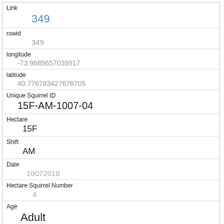| Field | Value |
| --- | --- |
| Link | 349 |
| rowid | 349 |
| longitude | -73.9689657039917 |
| latitude | 40.776783427676705 |
| Unique Squirrel ID | 15F-AM-1007-04 |
| Hectare | 15F |
| Shift | AM |
| Date | 10072018 |
| Hectare Squirrel Number | 4 |
| Age | Adult |